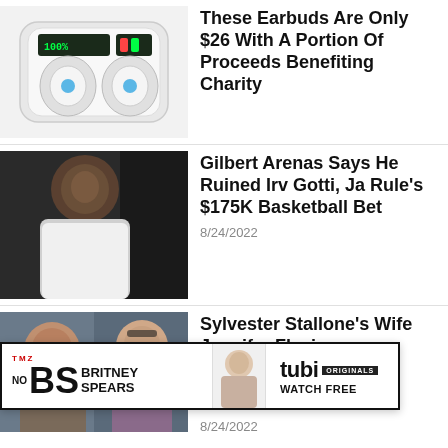[Figure (photo): White wireless earbuds in charging case with digital battery display showing 100%]
These Earbuds Are Only $26 With A Portion Of Proceeds Benefiting Charity
[Figure (photo): Gilbert Arenas smiling with hands pressed together, wearing white t-shirt]
Gilbert Arenas Says He Ruined Irv Gotti, Ja Rule's $175K Basketball Bet
8/24/2022
[Figure (photo): Sylvester Stallone and Jennifer Flavin side by side]
Sylvester Stallone's Wife Jennifer Flavin
8/24/2022
[Figure (advertisement): TMZ No BS Britney Spears on Tubi Originals - Watch Free ad banner]